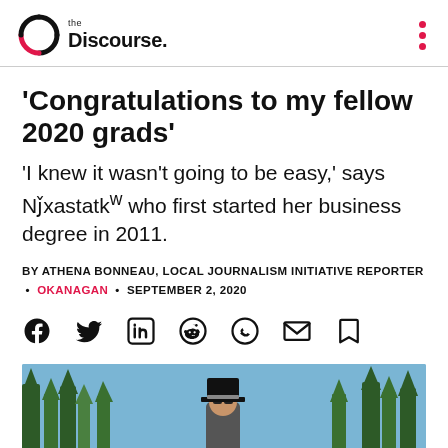the Discourse.
‘Congratulations to my fellow 2020 grads’
‘I knew it wasn’t going to be easy,’ says Ňxastatkʷ who first started her business degree in 2011.
BY ATHENA BONNEAU, LOCAL JOURNALISM INITIATIVE REPORTER • OKANAGAN • SEPTEMBER 2, 2020
[Figure (illustration): Social media share icons: Facebook, Twitter, LinkedIn, Reddit, WhatsApp, Email, Bookmark]
[Figure (photo): Photo of graduates outdoors with trees in background; person in center wearing a black top hat]